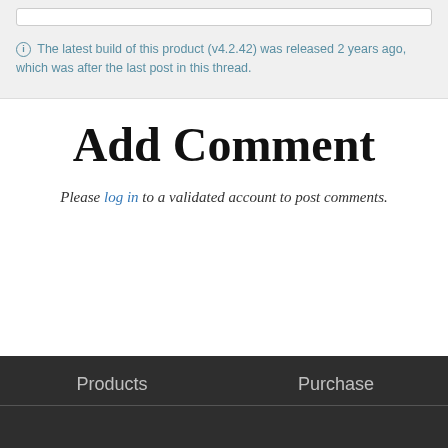ⓘ The latest build of this product (v4.2.42) was released 2 years ago, which was after the last post in this thread.
Add Comment
Please log in to a validated account to post comments.
Products   Purchase